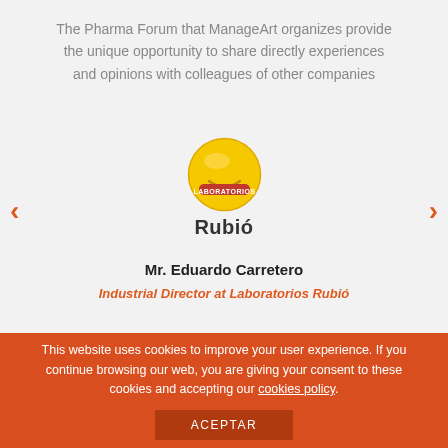The Pharma Forum that ManageArt organizes provide the unique opportunity to share directly experiences and opinions with colleagues of other companies
[Figure (logo): Rubió logo: yellow circular badge with red banner, and text 'Rubió' below in bold dark letters]
Mr. Eduardo Carretero
Industrial Director at Laboratorios Rubió
This website uses cookies to improve your user experience. If you continue browsing our web, you are giving your consent to these cookies and accepting our cookies policy.
ACEPTAR